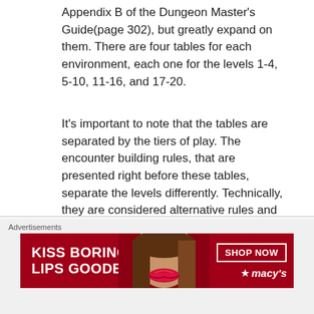Appendix B of the Dungeon Master's Guide(page 302), but greatly expand on them. There are four tables for each environment, each one for the levels 1-4, 5-10, 11-16, and 17-20.
It's important to note that the tables are separated by the tiers of play. The encounter building rules, that are presented right before these tables, separate the levels differently. Technically, they are considered alternative rules and also the Dungeon Master should tailor the encounters based on the party but, still, that doesn't sit well with me. It feels a bit weird. Finally, no CR is mentioned in the tables, as opposed to the ones in the Dungeon Master's Guide.
Advertisements
[Figure (infographic): Advertisement banner for Macy's lipstick: 'KISS BORING LIPS GOODBYE' with a SHOP NOW button and the Macy's star logo on a dark red background, featuring an image of a woman's lips.]